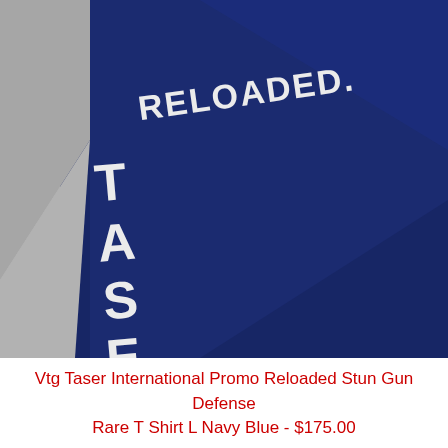[Figure (photo): Close-up photo of a navy blue t-shirt laid on a gray surface. The shirt has white embroidered/printed text. 'RELOADED.' is printed horizontally across the upper chest area in bold white block letters. 'TASER' is printed vertically along the left side of the shirt in large white block letters.]
Vtg Taser International Promo Reloaded Stun Gun Defense Rare T Shirt L Navy Blue - $175.00